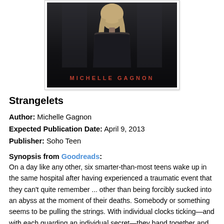[Figure (photo): Book cover for 'Strangelets' by Michelle Gagnon — dark atmospheric image of a person seen from behind with blonde hair, dark background, author name in red/orange text at bottom]
Strangelets
Author: Michelle Gagnon
Expected Publication Date: April 9, 2013
Publisher: Soho Teen
Synopsis from Goodreads:
On a day like any other, six smarter-than-most teens wake up in the same hospital after having experienced a traumatic event that they can't quite remember ... other than being forcibly sucked into an abyss at the moment of their deaths. Somebody or something seems to be pulling the strings. With individual clocks ticking—and with each guarding an individual secret—they band together and conspire to piece